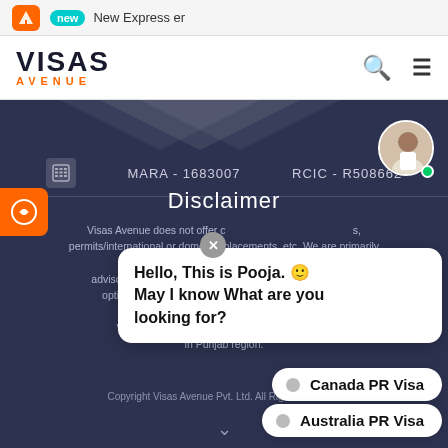New Express er
[Figure (logo): Visas Avenue logo with orange AVENUE text]
MARA - 1683007   RCIC - R508662
Disclaimer
Visas Avenue does not offer consultancy on overseas jobs, permits/international or domestic placements, etc. We are primarily an immigration advisory company that offers comprehensive options. We are not associated with any department. Visas Avenue does not have any office in Punjab region.
Hello, This is Pooja. 🙂 May I know What are you looking for?
Canada PR Visa
Australia PR Visa
Copyright Visas Avenue Pvt. Ltd. All Rights Reserved.